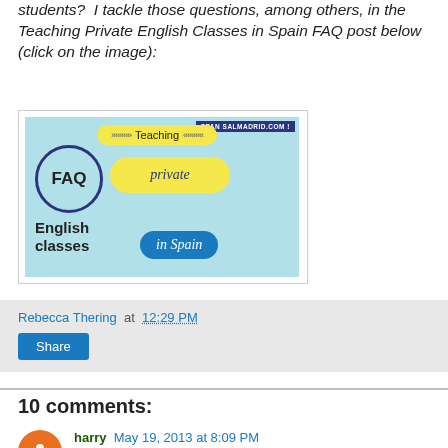students? I tackle those questions, among others, in the Teaching Private English Classes in Spain FAQ post below (click on the image):
[Figure (illustration): Decorative banner image for 'FAQ Teaching private English classes in Spain' with teal dotted background, FAQ in a circle, yellow speech bubbles, and blue 'in Spain' bubble]
Rebecca Thering at 12:29 PM
Share
10 comments:
harry May 19, 2013 at 8:09 PM
Great post Rebe! Particularly useful : "Tus clases particulares" Thanks from North Spain, Martin.